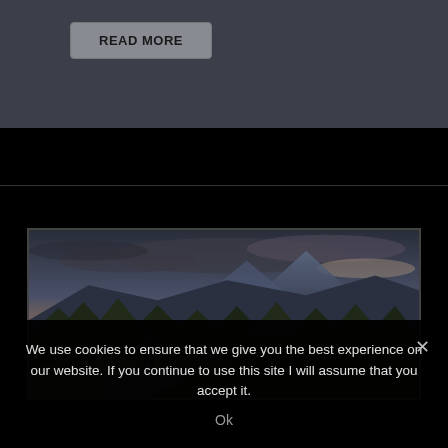READ MORE
[Figure (photo): Outdoor mountain landscape with a hiker on rocky terrain, dramatic cloudy sky at dusk, forested hills and a mountain peak in the background]
We use cookies to ensure that we give you the best experience on our website. If you continue to use this site I will assume that you accept it.
Ok